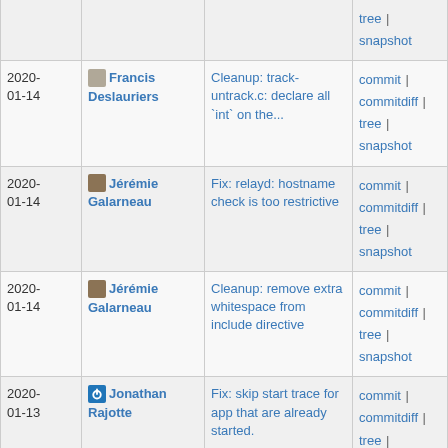| Date | Author | Commit message | Links |
| --- | --- | --- | --- |
|  |  |  | tree | snapshot |
| 2020-01-14 | Francis Deslauriers | Cleanup: track-untrack.c: declare all `int` on the... | commit | commitdiff | tree | snapshot |
| 2020-01-14 | Jérémie Galarneau | Fix: relayd: hostname check is too restrictive | commit | commitdiff | tree | snapshot |
| 2020-01-14 | Jérémie Galarneau | Cleanup: remove extra whitespace from include directive | commit | commitdiff | tree | snapshot |
| 2020-01-13 | Jonathan Rajotte | Fix: skip start trace for app that are already started. | commit | commitdiff | tree | snapshot |
| 2020-01-13 | Jonathan Rajotte | Fix: keep active session state on redundant start command | commit | commitdiff | tree | snapshot |